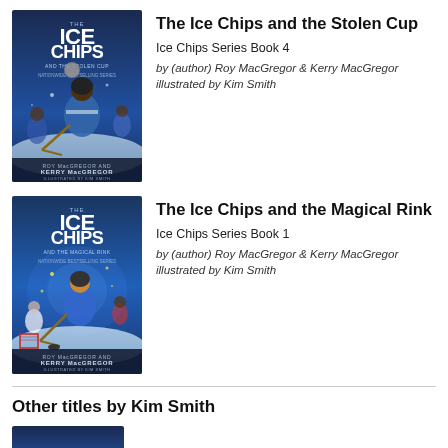[Figure (illustration): Book cover for 'The Ice Chips and the Stolen Cup' - Ice Chips Series Book 4, illustrated by Kim Smith. Shows children playing hockey with dramatic action scene.]
The Ice Chips and the Stolen Cup
Ice Chips Series Book 4
by (author) Roy MacGregor & Kerry MacGregor illustrated by Kim Smith
[Figure (illustration): Book cover for 'The Ice Chips and the Magical Rink' - Ice Chips Series Book 1, illustrated by Kim Smith. Shows children playing hockey with magical rink scene.]
The Ice Chips and the Magical Rink
Ice Chips Series Book 1
by (author) Roy MacGregor & Kerry MacGregor illustrated by Kim Smith
Other titles by Kim Smith
[Figure (illustration): Partial book cover shown at bottom of page, cut off.]